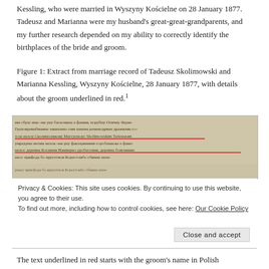Kessling, who were married in Wyszyny Kościelne on 28 January 1877. Tadeusz and Marianna were my husband's great-great-grandparents, and my further research depended on my ability to correctly identify the birthplaces of the bride and groom.
Figure 1: Extract from marriage record of Tadeusz Skolimowski and Marianna Kessling, Wyszyny Kościelne, 28 January 1877, with details about the groom underlined in red.¹
[Figure (photo): Handwritten historical marriage record in Polish/Russian cursive script, with two lines underlined in red ink highlighting information about the groom Tadeusz Skolimowski. The document appears to be from 1877.]
Privacy & Cookies: This site uses cookies. By continuing to use this website, you agree to their use. To find out more, including how to control cookies, see here: Our Cookie Policy
The text underlined in red starts with the groom's name in Polish